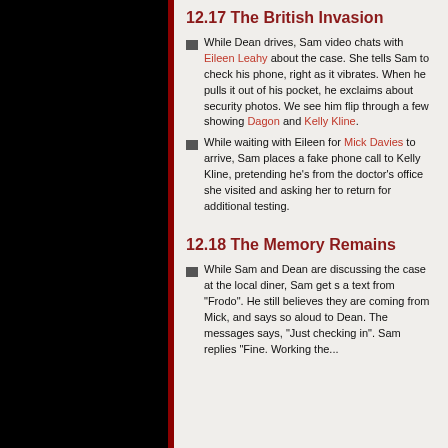12.17 The British Invasion
While Dean drives, Sam video chats with Eileen Leahy about the case. She tells Sam to check his phone, right as it vibrates. When he pulls it out of his pocket, he exclaims about security photos. We see him flip through a few showing Dagon and Kelly Kline.
While waiting with Eileen for Mick Davies to arrive, Sam places a fake phone call to Kelly Kline, pretending he's from the doctor's office she visited and asking her to return for additional testing.
12.18 The Memory Remains
While Sam and Dean are discussing the case at the local diner, Sam get s a text from "Frodo". He still believes they are coming from Mick, and says so aloud to Dean. The messages says, "Just checking in". Sam replies "Fine. Working the..."